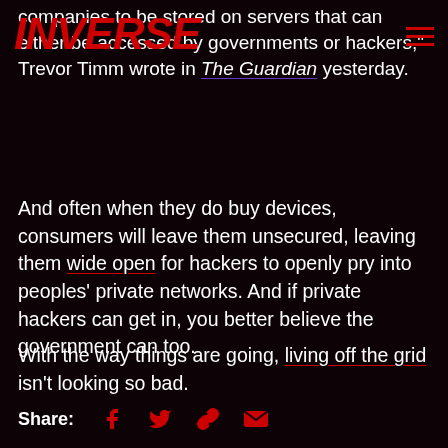INVERSE
companies to be stored on servers that can either be accessed by governments or hackers," Trevor Timm wrote in The Guardian yesterday.
And often when they do buy devices, consumers will leave them unsecured, leaving them wide open for hackers to openly pry into peoples' private networks. And if private hackers can get in, you better believe the government can too.
With the way things are going, living off the grid isn't looking so bad.
Share: